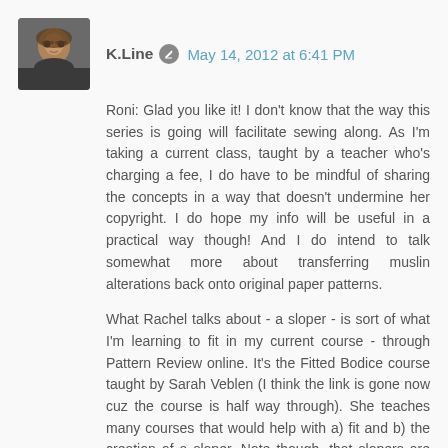[Figure (photo): Avatar photo of a person wearing glasses]
K.Line  May 14, 2012 at 6:41 PM
Roni: Glad you like it! I don't know that the way this series is going will facilitate sewing along. As I'm taking a current class, taught by a teacher who's charging a fee, I do have to be mindful of sharing the concepts in a way that doesn't undermine her copyright. I do hope my info will be useful in a practical way though! And I do intend to talk somewhat more about transferring muslin alterations back onto original paper patterns.

What Rachel talks about - a sloper - is sort of what I'm learning to fit in my current course - through Pattern Review online. It's the Fitted Bodice course taught by Sarah Veblen (I think the link is gone now cuz the course is half way through). She teaches many courses that would help with a) fit and b) the creation of a sloper. Note though, that slopers are just more refined prototypes than unaltered paper patterns. They